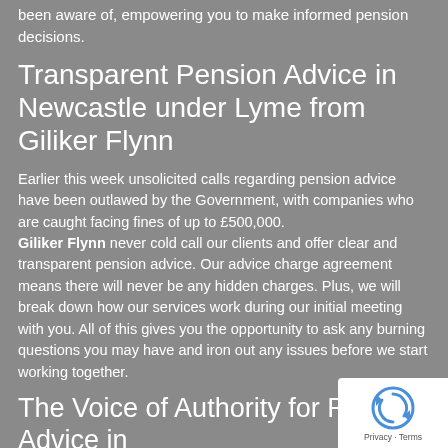been aware of, empowering you to make informed pension decisions.
Transparent Pension Advice in Newcastle under Lyme from Giliker Flynn
Earlier this week unsolicited calls regarding pension advice have been outlawed by the Government, with companies who are caught facing fines of up to £500,000. Giliker Flynn never cold call our clients and offer clear and transparent pension advice. Our advice charge agreement means there will never be any hidden charges. Plus, we will break down how our services work during our initial meeting with you. All of this gives you the opportunity to ask any burning questions you may have and iron out any issues before we start working together.
The Voice of Authority for Pension Advice in